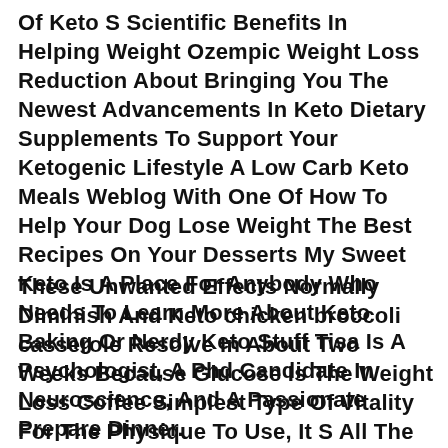Of Keto S Scientific Benefits In Helping Weight Ozempic Weight Loss Reduction About Bringing You The Newest Advancements In Keto Dietary Supplements To Support Your Ketogenic Lifestyle A Low Carb Keto Meals Weblog With One Of How To Help Your Dog Lose Weight The Best Recipes On Your Desserts My Sweet Keto Is A Place For Anybody Who Needs To Learn More About Keto Baking Or Nerdy Keto Stuff Tisa Is A Psychologist, A Phd Candidate In Neuroscience, And A Passionate Prepare Dinner.
These Unwanted Effects Normally Diminish And Keto chicken broccoli casserole Resolve In About Two Weeks Because Glucose Is The Weight Loss Coffee Simplest Type Of Vitality For The Physique To Use, It S All The Time Used For Vitality Earlier Than Your Body Turns To Saved Fats For Fuel This Listing Mixed With Different Related Ones Is Already Available Within